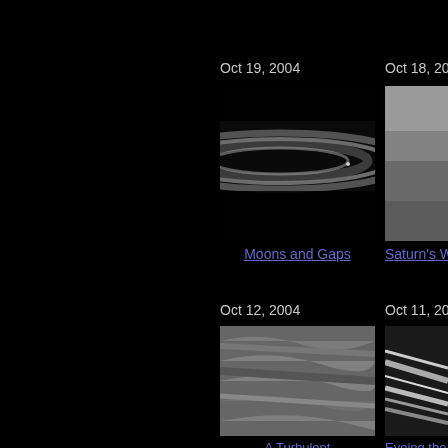Oct 19, 2004
[Figure (photo): Cassini image of Saturn's rings showing moons and gaps, grayscale with ring structure visible]
Moons and Gaps
Oct 18, 20...
[Figure (photo): Cassini image of Saturn's atmosphere, grayscale showing cloud bands]
Saturn's Wa...
Oct 12, 2004
[Figure (photo): Cassini image showing turbulent atmospheric interface on Saturn, grayscale swirling cloud patterns]
A Turbulent Interface
Oct 11, 20...
[Figure (photo): Cassini image of Saturn's rings viewed at angle, showing ring structure]
Eyeing the C...